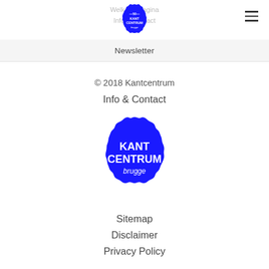[Figure (logo): Kant Centrum Brugge logo (blue scalloped circle badge, 50 years edition) in top header area]
Welkomstpagina
Info & Contact
Newsletter
© 2018 Kantcentrum
Info & Contact
[Figure (logo): Kant Centrum Brugge logo — large blue scalloped badge with white text KANT CENTRUM brugge]
Sitemap
Disclaimer
Privacy Policy